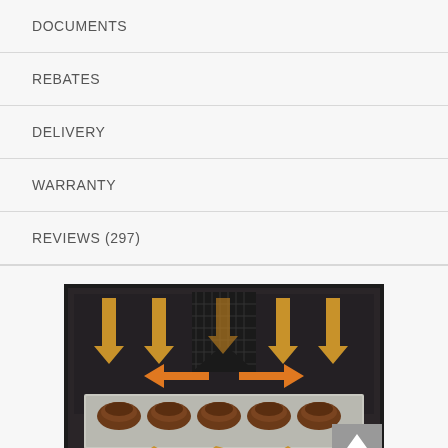DOCUMENTS
REBATES
DELIVERY
WARRANTY
REVIEWS (297)
[Figure (photo): Oven interior showing convection airflow with large downward yellow arrows from top fan and horizontal/diagonal arrows distributing heat around a baking tray with food items on it.]